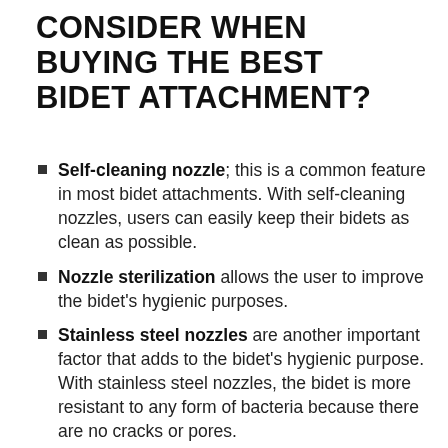CONSIDER WHEN BUYING THE BEST BIDET ATTACHMENT?
Self-cleaning nozzle; this is a common feature in most bidet attachments. With self-cleaning nozzles, users can easily keep their bidets as clean as possible.
Nozzle sterilization allows the user to improve the bidet's hygienic purposes.
Stainless steel nozzles are another important factor that adds to the bidet's hygienic purpose. With stainless steel nozzles, the bidet is more resistant to any form of bacteria because there are no cracks or pores.
Adjustable water temperature; this allows the user to decide whether or not they want warm or cold water.
Adjustable water pressure; this feature allows the